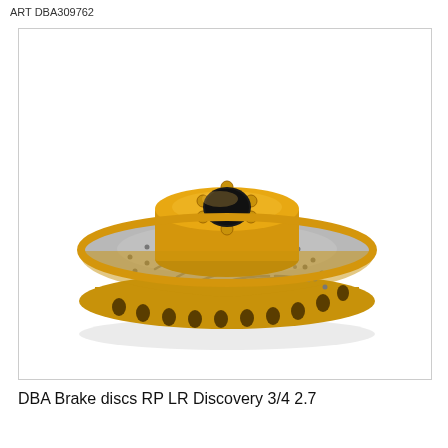ART DBA309762
[Figure (photo): A gold/yellow anodized DBA brake disc rotor with drilled holes and curved slots on the braking surface, viewed from a slight angle showing the hub and ventilated interior. The rotor has a gold-colored hat and outer edge with a silver/grey braking surface.]
DBA Brake discs RP LR Discovery 3/4 2.7